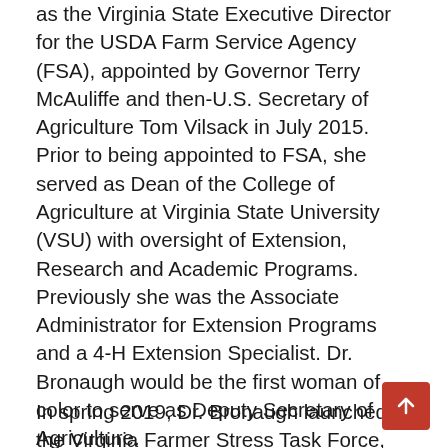as the Virginia State Executive Director for the USDA Farm Service Agency (FSA), appointed by Governor Terry McAuliffe and then-U.S. Secretary of Agriculture Tom Vilsack in July 2015. Prior to being appointed to FSA, she served as Dean of the College of Agriculture at Virginia State University (VSU) with oversight of Extension, Research and Academic Programs. Previously she was the Associate Administrator for Extension Programs and a 4-H Extension Specialist. Dr. Bronaugh would be the first woman of color to serve as Deputy Secretary of Agriculture.
In spring 2019, Dr. Bronaugh launched the Virginia Farmer Stress Task Force, organized in partnership with agricultural and health agencies and organizations, to raise awareness and coordinate resources to address farmer stress